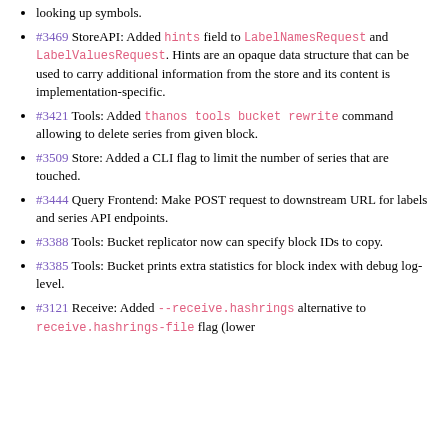looking up symbols.
#3469 StoreAPI: Added hints field to LabelNamesRequest and LabelValuesRequest. Hints are an opaque data structure that can be used to carry additional information from the store and its content is implementation-specific.
#3421 Tools: Added thanos tools bucket rewrite command allowing to delete series from given block.
#3509 Store: Added a CLI flag to limit the number of series that are touched.
#3444 Query Frontend: Make POST request to downstream URL for labels and series API endpoints.
#3388 Tools: Bucket replicator now can specify block IDs to copy.
#3385 Tools: Bucket prints extra statistics for block index with debug log-level.
#3121 Receive: Added --receive.hashrings alternative to receive.hashrings-file flag (lower